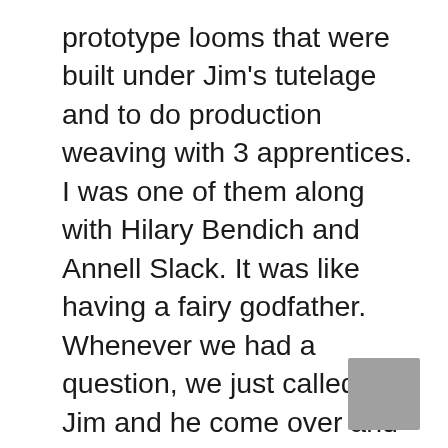prototype looms that were built under Jim's tutelage and to do production weaving with 3 apprentices. I was one of them along with Hilary Bendich and Annell Slack. It was like having a fairy godfather. Whenever we had a question, we just called up Jim and he come over and told us what to do. This is how AVL Looms came into being. The “A” is for Ahrens and the “V” is for Violette.
[Figure (other): Small gray square in bottom-right corner]